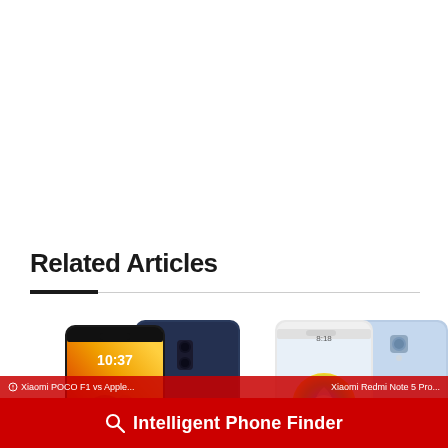Related Articles
[Figure (photo): Two Xiaomi Pocophone F1 smartphones shown front and back, one displaying a warm orange wallpaper with time 10:37, and one showing the dark blue back cover with dual camera]
[Figure (photo): Two Xiaomi Redmi Note 5 smartphones in light blue/white color, one showing the front screen with colorful Xiaomi logo wallpaper, and one showing the back with fingerprint sensor]
Intelligent Phone Finder